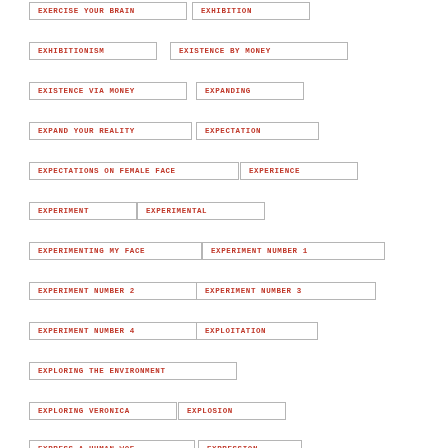EXERCISE YOUR BRAIN
EXHIBITION
EXHIBITIONISM
EXISTENCE BY MONEY
EXISTENCE VIA MONEY
EXPANDING
EXPAND YOUR REALITY
EXPECTATION
EXPECTATIONS ON FEMALE FACE
EXPERIENCE
EXPERIMENT
EXPERIMENTAL
EXPERIMENTING MY FACE
EXPERIMENT NUMBER 1
EXPERIMENT NUMBER 2
EXPERIMENT NUMBER 3
EXPERIMENT NUMBER 4
EXPLOITATION
EXPLORING THE ENVIRONMENT
EXPLORING VERONICA
EXPLOSION
EXPRESS A HUMAN WOE
EXPRESSION
EXPRESSION OF PLEASURE
EXPRESSIONS